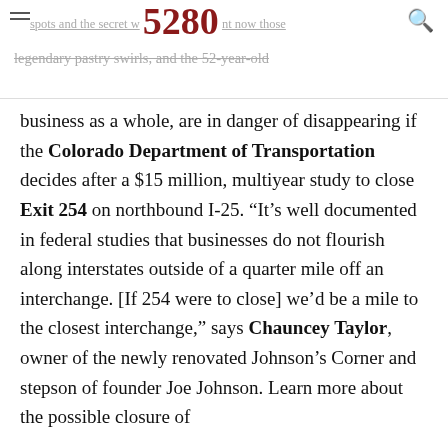spots and the secret w[5280]nt now those legendary pastry swirls, and the 52-year-old
business as a whole, are in danger of disappearing if the Colorado Department of Transportation decides after a $15 million, multiyear study to close Exit 254 on northbound I-25. “It’s well documented in federal studies that businesses do not flourish along interstates outside of a quarter mile off an interchange. [If 254 were to close] we’d be a mile to the closest interchange,” says Chauncey Taylor, owner of the newly renovated Johnson’s Corner and stepson of founder Joe Johnson. Learn more about the possible closure of